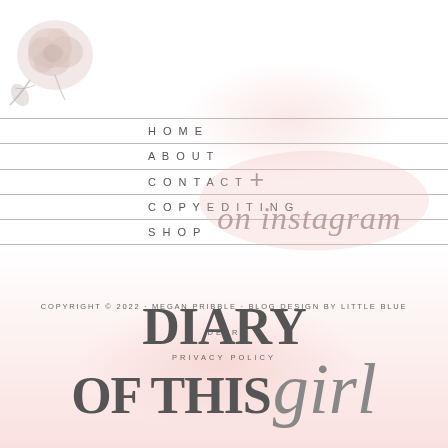[Figure (illustration): Soft watercolor floral illustration in blush pink/beige tones, top-left corner]
HOME
ABOUT
CONTACT
COPYEDITING
SHOP
[Figure (illustration): Script text reading '+ on instagram' in light rose/dusty pink script overlay with blush watercolor background]
COPYRIGHT © 2022 · MEGAN PRIBBLE · BLOG DESIGN BY LITTLE BLUE
DEER
PRIVACY POLICY
DIARY OF THIS girl